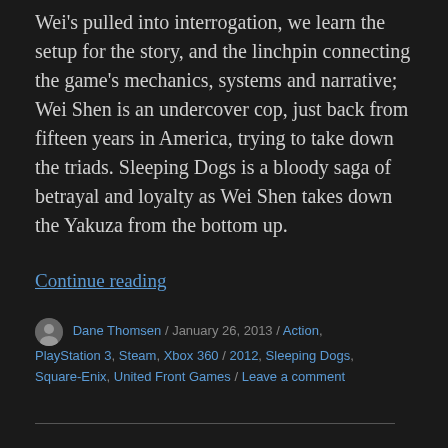Wei's pulled into interrogation, we learn the setup for the story, and the linchpin connecting the game's mechanics, systems and narrative; Wei Shen is an undercover cop, just back from fifteen years in America, trying to take down the triads. Sleeping Dogs is a bloody saga of betrayal and loyalty as Wei Shen takes down the Yakuza from the bottom up.
Continue reading
Dane Thomsen / January 26, 2013 / Action, PlayStation 3, Steam, Xbox 360 / 2012, Sleeping Dogs, Square-Enix, United Front Games / Leave a comment